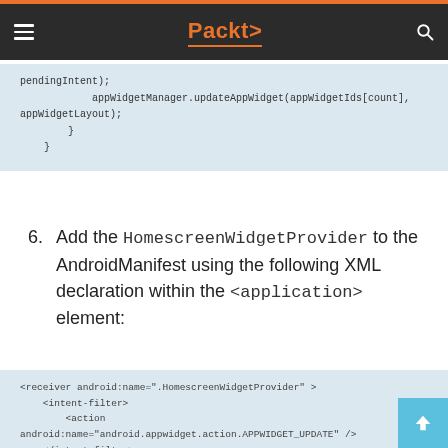Packt
pendingIntent);
            appWidgetManager.updateAppWidget(appWidgetIds[count],
appWidgetLayout);
        }
    }
6. Add the HomescreenWidgetProvider to the AndroidManifest using the following XML declaration within the <application> element:
<receiver android:name=".HomescreenWidgetProvider" >
    <intent-filter>
        <action android:name="android.appwidget.action.APPWIDGET_UPDATE" />
    </intent-filter>
    <meta-data android:name="android.appwidget.provider"
        android:resource="@xml/appwidget_info" />
</receiver>